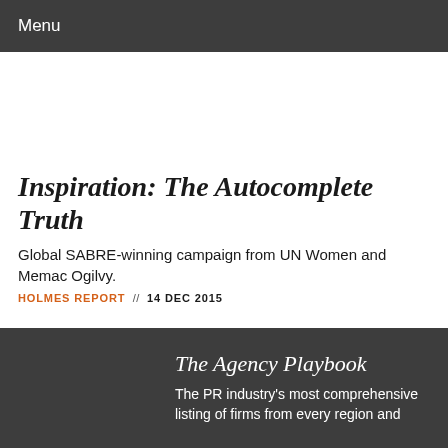Menu
Inspiration: The Autocomplete Truth
Global SABRE-winning campaign from UN Women and Memac Ogilvy.
HOLMES REPORT // 14 DEC 2015
The Agency Playbook
The PR industry's most comprehensive listing of firms from every region and